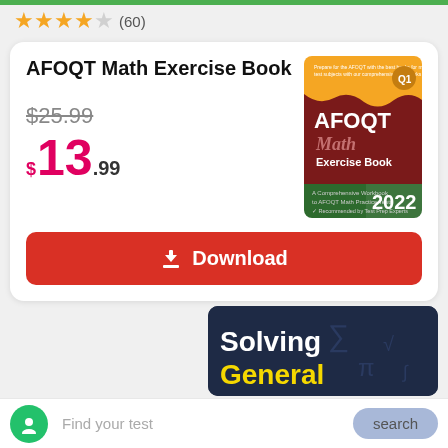★★★★☆ (60)
AFOQT Math Exercise Book
$25.99
$13.99
[Figure (illustration): Book cover for AFOQT Math Exercise Book 2022, dark red and orange cover with AFOQT Math Exercise Book title and 2022 year label]
Download
Solving General
Find your test
search